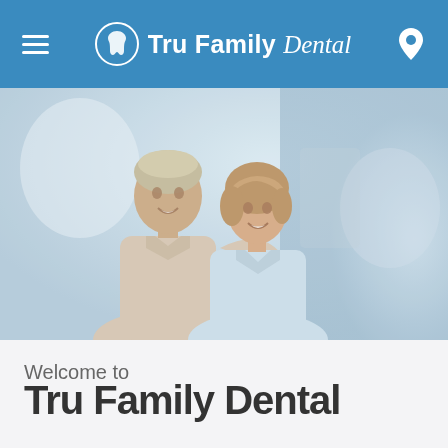Tru Family Dental
[Figure (photo): Smiling middle-aged couple with arms around each other, blurred background, hero image for dental practice website]
Welcome to
Tru Family Dental